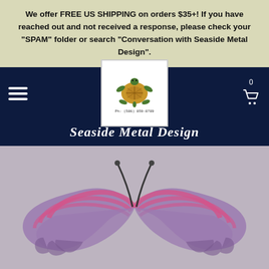We offer FREE US SHIPPING on orders $35+! If you have reached out and not received a response, please check your "SPAM" folder or search "Conversation with Seaside Metal Design".
[Figure (logo): Seaside Metal Design logo with a sea turtle illustration and phone number Ph: (586) 859-8789, with brand name 'Seaside Metal Design' in italic script below]
[Figure (photo): Metal butterfly wall art with purple and pink painted wings, displayed on a concrete or stone surface]